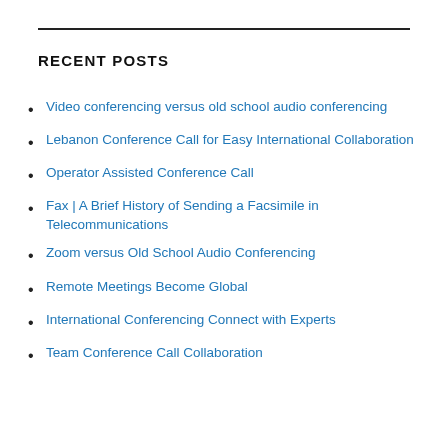RECENT POSTS
Video conferencing versus old school audio conferencing
Lebanon Conference Call for Easy International Collaboration
Operator Assisted Conference Call
Fax | A Brief History of Sending a Facsimile in Telecommunications
Zoom versus Old School Audio Conferencing
Remote Meetings Become Global
International Conferencing Connect with Experts
Team Conference Call Collaboration